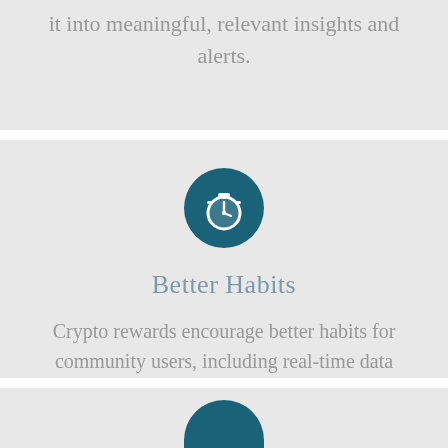it into meaningful, relevant insights and alerts.
[Figure (illustration): Stopwatch icon in a dark teal circle]
Better Habits
Crypto rewards encourage better habits for community users, including real-time data entry rather than end-of-shift bulk charting.
[Figure (illustration): Partial dark teal circle icon at the bottom of the page]